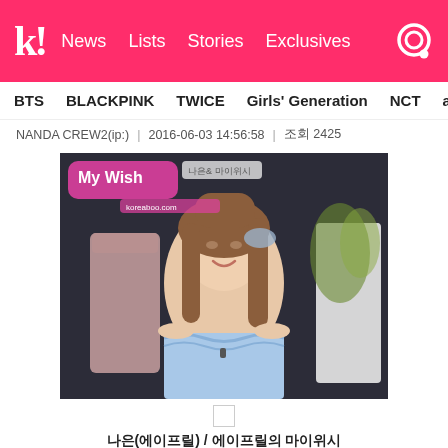k! News  Lists  Stories  Exclusives
BTS  BLACKPINK  TWICE  Girls' Generation  NCT  aespa
NANDA CREW2(ip:)  |  2016-06-03 14:56:58  |  조회 2425
[Figure (photo): A young Korean woman wearing a blue off-shoulder striped ruffled top, with long brown hair, smiling. Show 'My Wish' graphic overlay in top left. Background shows clothing store with garments on display.]
나은(에이프릴) / 에이프릴의 마이위시
착용제품 / STRIPE SHOWER 오프숄더_SB, DENIM WILD DAMAGE